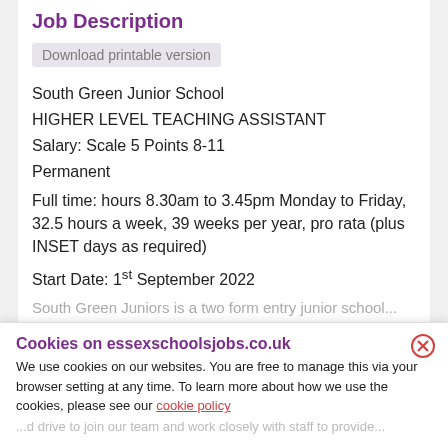Job Description
Download printable version
South Green Junior School
HIGHER LEVEL TEACHING ASSISTANT
Salary: Scale 5 Points 8-11
Permanent
Full time: hours 8.30am to 3.45pm Monday to Friday, 32.5 hours a week, 39 weeks per year, pro rata (plus INSET days as required)
Start Date: 1st September 2022
South Green Juniors is a two form entry junior school...
Cookies on essexschoolsjobs.co.uk
We use cookies on our websites. You are free to manage this via your browser setting at any time. To learn more about how we use the cookies, please see our cookie policy